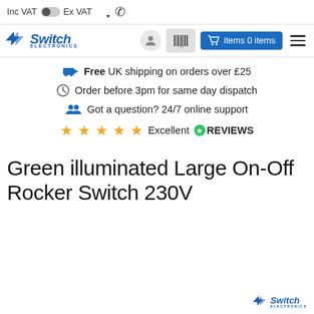Inc VAT  Ex VAT
[Figure (logo): Switch Electronics logo with blue chevron arrows and italic text]
Free UK shipping on orders over £25
Order before 3pm for same day dispatch
Got a question? 24/7 online support
Excellent  REVIEWS
Green illuminated Large On-Off Rocker Switch 230V
[Figure (logo): Switch Electronics small watermark logo bottom right]